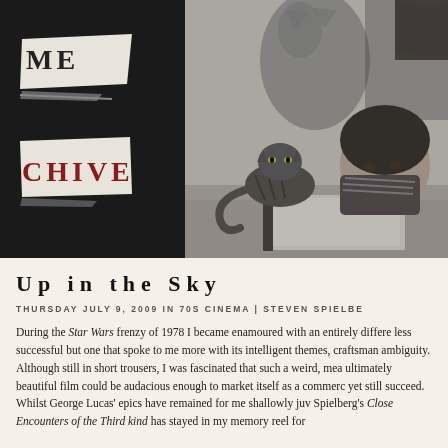[Figure (photo): Black and white photograph of a man lying down looking at a tabby cat on a desk or table, with a large cat shadow on the wall behind them]
Up in the Sky
THURSDAY JULY 9, 2009 IN 70S CINEMA | STEVEN SPIELBE
During the Star Wars frenzy of 1978 I became enamoured with an entirely differe less successful but one that spoke to me more with its intelligent themes, craftsmen ambiguity. Although still in short trousers, I was fascinated that such a weird, mea ultimately beautiful film could be audacious enough to market itself as a commerc yet still succeed. Whilst George Lucas' epics have remained for me shallowly juv Spielberg's Close Encounters of the Third kind has stayed in my memory reel for